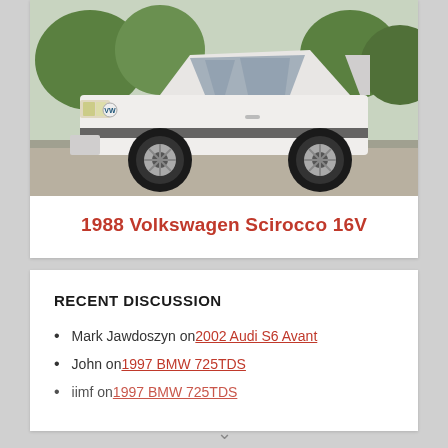[Figure (photo): White 1988 Volkswagen Scirocco 16V photographed outdoors on gravel, side/front three-quarter view, with aftermarket alloy wheels, trees in background.]
1988 Volkswagen Scirocco 16V
RECENT DISCUSSION
Mark Jawdoszyn on 2002 Audi S6 Avant
John on 1997 BMW 725TDS
iimf on 1997 BMW 725TDS